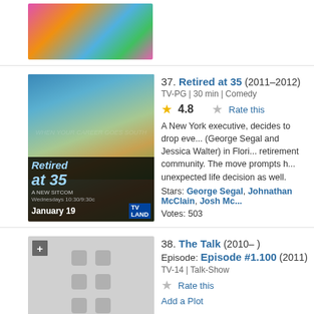[Figure (photo): Partial top image of a colorful show with decorative costumes]
[Figure (photo): Movie poster for Retired at 35 (2011-2012) TV-Land show featuring cast members]
37. Retired at 35 (2011–2012)
TV-PG | 30 min | Comedy
4.8 Rate this
A New York executive, decides to drop eve... (George Segal and Jessica Walter) in Flori... retirement community. The move prompts h... unexpected life decision as well.
Stars: George Segal, Johnathan McClain, Josh Mc...
Votes: 503
[Figure (photo): Placeholder thumbnail for The Talk episode]
38. The Talk (2010– )
Episode: Episode #1.100 (2011)
TV-14 | Talk-Show
Rate this
Add a Plot